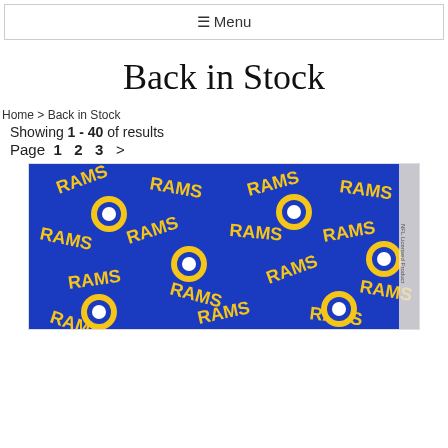☰ Menu
Back in Stock
Home > Back in Stock
Showing 1 - 40 of results
Page  1  2  3  >
[Figure (photo): Blue fabric with RAMS NFL team logo repeated pattern in yellow and white on blue background]